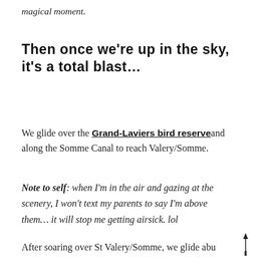magical moment.
Then once we're up in the sky, it's a total blast…
We glide over the Grand-Laviers bird reserve and along the Somme Canal to reach Valery/Somme.
Note to self: when I'm in the air and gazing at the scenery, I won't text my parents to say I'm above them… it will stop me getting airsick. lol
After soaring over St Valery/Somme, we glide abu...